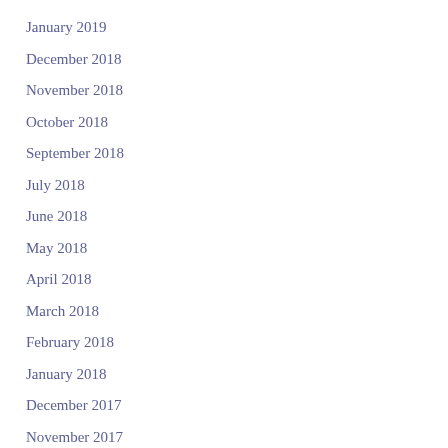January 2019
December 2018
November 2018
October 2018
September 2018
July 2018
June 2018
May 2018
April 2018
March 2018
February 2018
January 2018
December 2017
November 2017